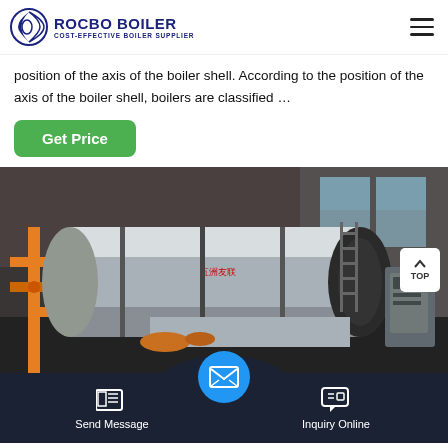ROCBO BOILER — COST-EFFECTIVE BOILER SUPPLIER
position of the axis of the boiler shell. According to the position of the axis of the boiler shell, boilers are classified …
Get Price
[Figure (photo): Industrial horizontal fire-tube boiler shell in a factory setting, showing a large cylindrical silver/stainless steel boiler with black end cap and orange piping to the left; a control panel is visible on the right side]
Send Message
Inquiry Online